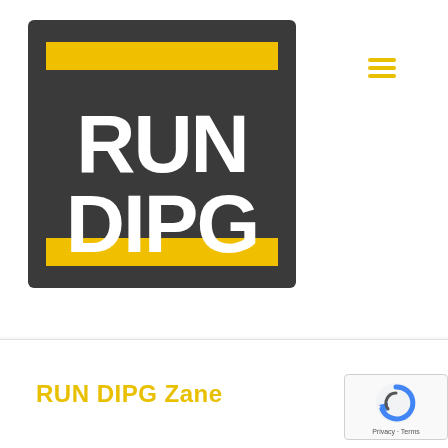[Figure (logo): RUN DIPG logo: dark charcoal square background with two thick yellow horizontal bars at top and bottom, white bold text 'RUN' on top and 'DIPG' on bottom in large Impact-style font]
[Figure (other): Hamburger menu icon with three yellow horizontal lines in top right corner]
RUN DIPG Zane
[Figure (other): reCAPTCHA badge with rotating arrow logo and Privacy - Terms links]